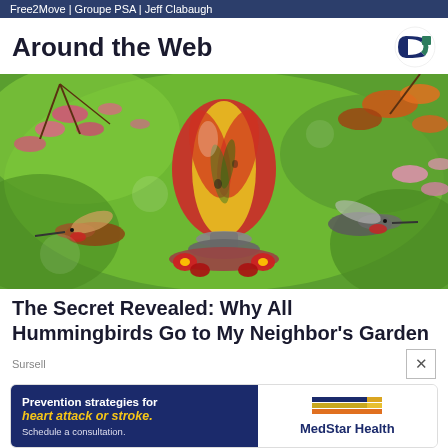Free2Move | Groupe PSA | Jeff Clabaugh
Around the Web
[Figure (photo): Colorful glass hummingbird feeder shaped like an egg, with red, yellow, and green swirling patterns, surrounded by cherry blossom flowers and two ruby-throated hummingbirds approaching from both sides against a green blurred background.]
The Secret Revealed: Why All Hummingbirds Go to My Neighbor's Garden
Sursell
[Figure (other): Advertisement banner for MedStar Health promoting prevention strategies for heart attack or stroke. Left side has dark navy background with text 'Prevention strategies for heart attack or stroke. Schedule a consultation.' Right side shows MedStar Health logo with colored horizontal bars and brand name.]